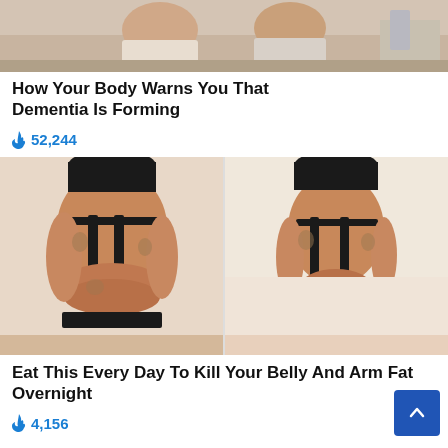[Figure (photo): Two elderly people sitting together, a before/after style photo cropped at the top]
How Your Body Warns You That Dementia Is Forming
52,244
[Figure (photo): Before and after back-view photo of a woman in a black bra, showing body transformation — left side heavier, right side slimmer]
Eat This Every Day To Kill Your Belly And Arm Fat Overnight
4,156